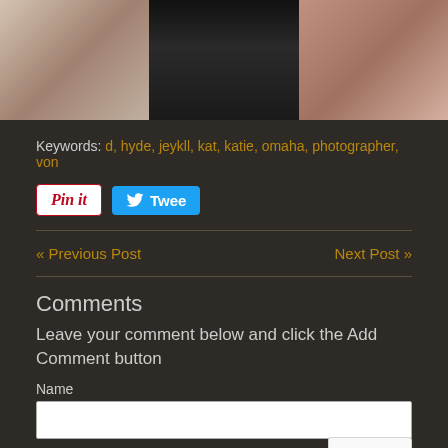[Figure (photo): Strip of three photos showing people with tattoos]
Keywords: d, hyde, jeykll, kat, katie, omaha, photographer, von
[Figure (screenshot): Pinterest Pin It button]
[Figure (screenshot): Twitter Tweet button]
« Previous Post
Next Post »
Comments
Leave your comment below and click the Add Comment button
Name
Comment